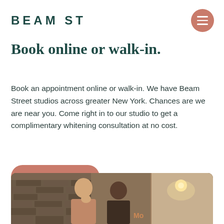BEAM ST
Book online or walk-in.
Book an appointment online or walk-in. We have Beam Street studios across greater New York. Chances are we are near you. Come right in to our studio to get a complimentary whitening consultation at no cost.
Book now
[Figure (photo): Two people smiling outside a Beam Street studio entrance, with brick wall and interior lighting visible]